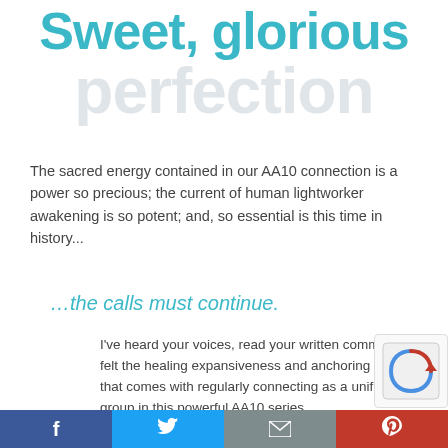Sweet, glorious perfection
The sacred energy contained in our AA10 connection is a power so precious; the current of human lightworker awakening is so potent; and, so essential is this time in history...
…the calls must continue.
I've heard your voices, read your written comments, felt the healing expansiveness and anchoring of light that comes with regularly connecting as a unified group in this powerful AA10 series.
As AA10 comes to a close, a new door is opening. You'v
f  t  ✉  P